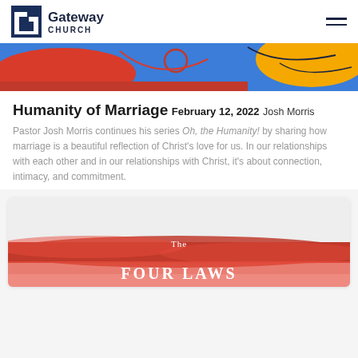Gateway Church
[Figure (illustration): Colorful abstract banner with blue, red/orange, yellow sections and decorative line drawings]
Humanity of Marriage
February 12, 2022
Josh Morris
Pastor Josh Morris continues his series Oh, the Humanity! by sharing how marriage is a beautiful reflection of Christ's love for us. In our relationships with each other and in our relationships with Christ, it's about connection, intimacy, and commitment.
[Figure (illustration): The Four Laws sermon series card with red brushstroke background and white text reading 'The FOUR LAWS']